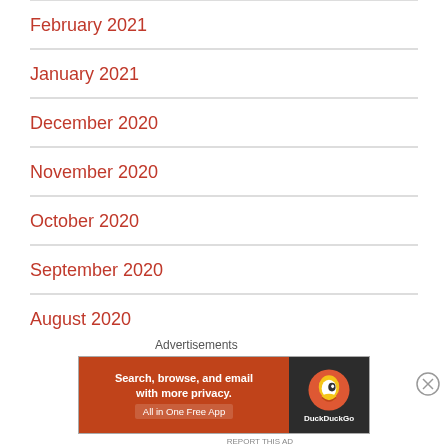February 2021
January 2021
December 2020
November 2020
October 2020
September 2020
August 2020
Advertisements
[Figure (infographic): DuckDuckGo advertisement banner: 'Search, browse, and email with more privacy. All in One Free App' with DuckDuckGo logo on dark background]